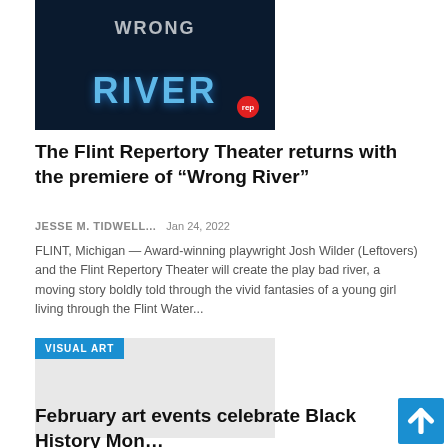[Figure (photo): Book or movie cover with dark blue background, 'WRONG RIVER' text in large light blue letters, 'WRONG' in white at top, red circular logo at bottom right]
The Flint Repertory Theater returns with the premiere of “Wrong River”
JESSE M. TIDWELL...   Jan 24, 2022
FLINT, Michigan — Award-winning playwright Josh Wilder (Leftovers) and the Flint Repertory Theater will create the play bad river, a moving story boldly told through the vivid fantasies of a young girl living through the Flint Water...
[Figure (photo): Visual Art section image placeholder (light gray rectangle) with 'VISUAL ART' badge in blue at top left]
February art events celebrate Black History Mon...